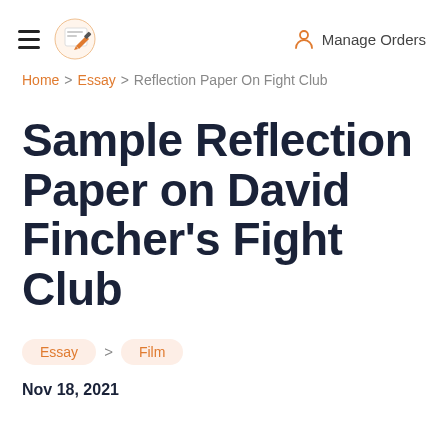Manage Orders
Home > Essay > Reflection Paper On Fight Club
Sample Reflection Paper on David Fincher's Fight Club
Essay > Film
Nov 18, 2021